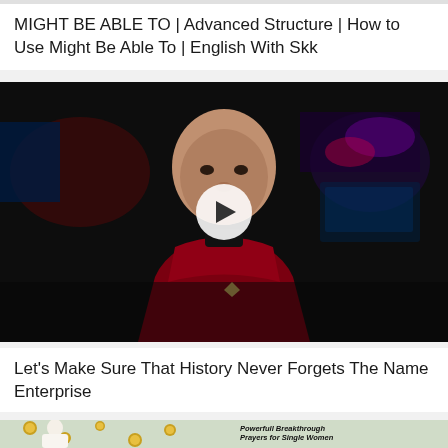MIGHT BE ABLE TO | Advanced Structure | How to Use Might Be Able To | English With Skk
[Figure (photo): Video thumbnail showing a bald man in a red Star Trek uniform on a dark bridge set, with a white circular play button overlay in the center.]
Let's Make Sure That History Never Forgets The Name Enterprise
[Figure (photo): Partial thumbnail showing a woman in white clothing on left with gold decorative balls, and bold italic text on the right reading: Powerfull Breakthrough Prayers for Single Women Desiring to be Married]